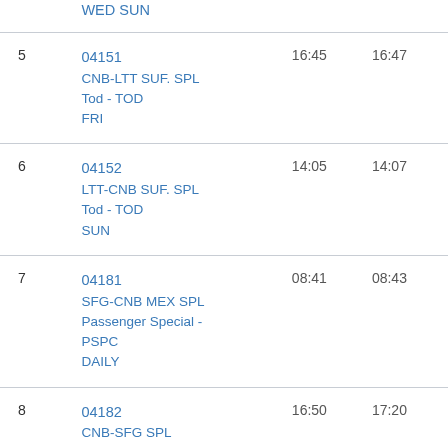| # | Route/Info | Departure | Arrival |
| --- | --- | --- | --- |
|  | WED SUN |  |  |
| 5 | 04151
CNB-LTT SUF. SPL
Tod - TOD
FRI | 16:45 | 16:47 |
| 6 | 04152
LTT-CNB SUF. SPL
Tod - TOD
SUN | 14:05 | 14:07 |
| 7 | 04181
SFG-CNB MEX SPL
Passenger Special - PSPC
DAILY | 08:41 | 08:43 |
| 8 | 04182
CNB-SFG SPL
Passenger Special - | 16:50 | 17:20 |